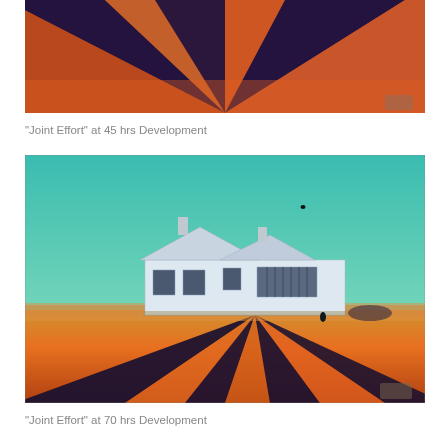[Figure (photo): Top portion of a painting 'Joint Effort' showing orange and dark purple/navy diagonal stripes converging to a vanishing point, with an orange sky background.]
“Joint Effort” at 45 hrs Development
[Figure (photo): A painting 'Joint Effort' showing a white farmhouse/building floating above an orange and black road with diagonal dark stripes converging to a vanishing point, set against a teal/turquoise sky.]
“Joint Effort” at 70 hrs Development